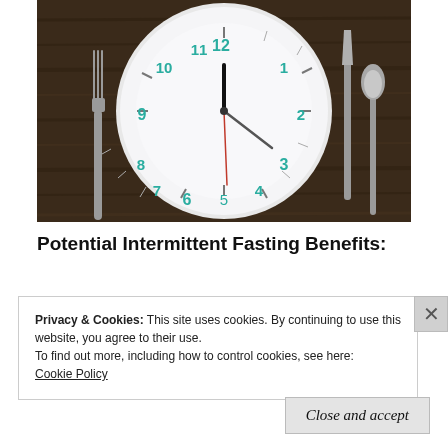[Figure (photo): A white plate with a clock face on it showing approximately 12:15, placed on a dark wooden table. A fork is on the left of the plate, and a knife and spoon are on the right.]
Potential Intermittent Fasting Benefits:
Privacy & Cookies: This site uses cookies. By continuing to use this website, you agree to their use.
To find out more, including how to control cookies, see here:
Cookie Policy